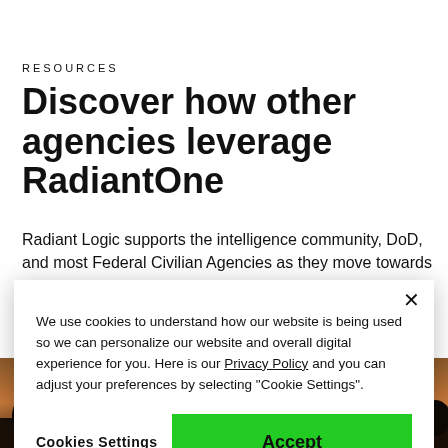RESOURCES
Discover how other agencies leverage RadiantOne
Radiant Logic supports the intelligence community, DoD, and most Federal Civilian Agencies as they move towards
[Figure (photo): Silhouette scene with people and dome building at dusk/twilight, dark cityscape]
We use cookies to understand how our website is being used so we can personalize our website and overall digital experience for you. Here is our Privacy Policy and you can adjust your preferences by selecting "Cookie Settings".
Cookies Settings
Accept